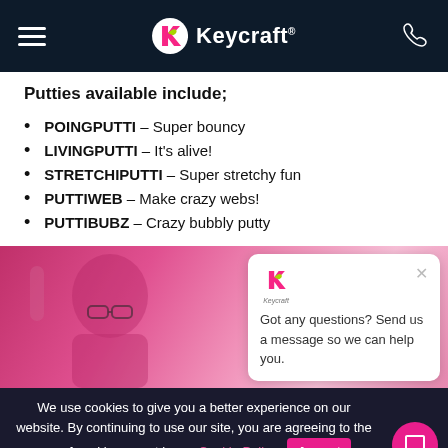Keycraft
Putties available include;
POINGPUTTI – Super bouncy
LIVINGPUTTI – It's alive!
STRETCHIPUTTI – Super stretchy fun
PUTTIWEB – Make crazy webs!
PUTTIBUBZ – Crazy bubbly putty
[Figure (photo): Child with glasses in a pink-lit environment holding something, with a chat popup overlay showing Keycraft logo and message: Got any questions? Send us a message so we can help you.]
We use cookies to give you a better experience on website. By continuing to use our site, you are agr the use of cookies as set in our Cookie Policy.